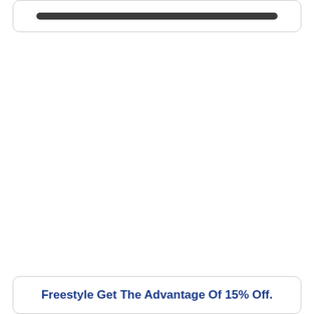[Figure (other): Top card section with a dark rounded bar element]
Freestyle Get The Advantage Of 15% Off.